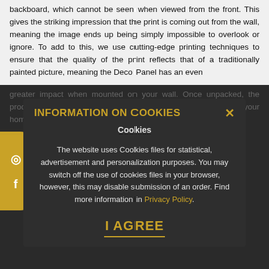backboard, which cannot be seen when viewed from the front. This gives the striking impression that the print is coming out from the wall, meaning the image ends up being simply impossible to overlook or ignore. To add to this, we use cutting-edge printing techniques to ensure that the quality of the print reflects that of a traditionally painted picture, meaning the Deco Panel has an even greater impact when mounted on your wall. Once unpacked, the product is ready to be hung, and is sure to bring a great look to your home
INFORMATION ON COOKIES
Cookies
The website uses Cookies files for statistical, advertisement and personalization purposes. You may switch off the use of cookies files in your browser, however, this may disable submission of an order. Find more information in Privacy Policy.
I AGREE